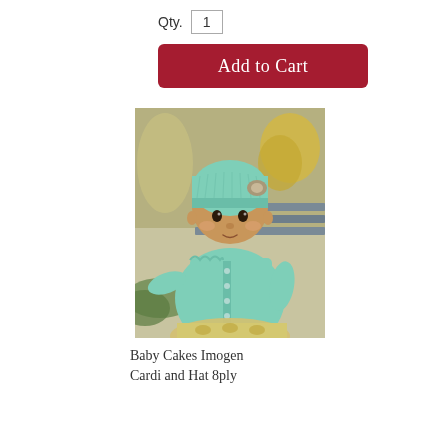Qty. 1
Add to Cart
[Figure (photo): A baby wearing a mint green knitted cardigan and matching knitted hat with a decorative element, sitting outdoors on a bench with blurred autumn background featuring yellow foliage and trees.]
Baby Cakes Imogen Cardi and Hat 8ply